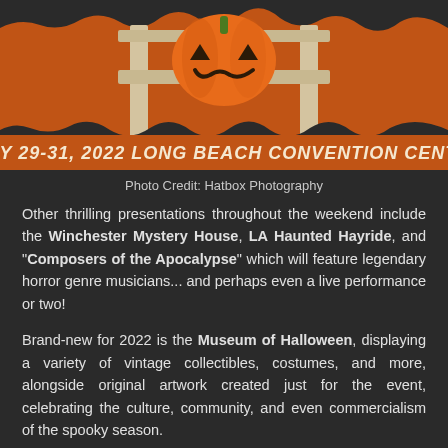[Figure (illustration): Event poster illustration showing a jack-o-lantern on what appears to be a wooden structure/shelf with orange background. Orange banner at bottom reads 'JULY 29-31, 2022  LONG BEACH CONVENTION CENTER' in bold italic cream text.]
Photo Credit: Hatbox Photography
Other thrilling presentations throughout the weekend include the Winchester Mystery House, LA Haunted Hayride, and "Composers of the Apocalypse" which will feature legendary horror genre musicians... and perhaps even a live performance or two!
Brand-new for 2022 is the Museum of Halloween, displaying a variety of vintage collectibles, costumes, and more, alongside original artwork created just for the event, celebrating the culture, community, and even commercialism of the spooky season.
Featuring more than 350 vendors and artists, the Midsummer Scream show floor is a stunning collection of